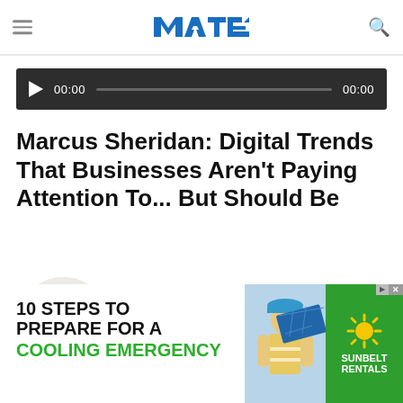MTE logo, hamburger menu, search icon
[Figure (screenshot): Audio player with play button, 00:00 timestamps and progress bar on dark background]
Marcus Sheridan: Digital Trends That Businesses Aren't Paying Attention To... But Should Be
[Figure (photo): Circular headshot of Marcus Sheridan, a middle-aged bald man smiling]
For almost a decade, Marcus Sheridan has been teaching the principles his book to audiences
[Figure (infographic): Advertisement overlay: '10 STEPS TO PREPARE FOR A COOLING EMERGENCY' with worker and Sunbelt Rentals branding]